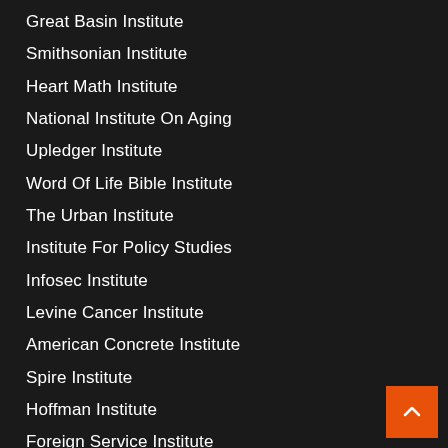Great Basin Institute
Smithsonian Institute
Heart Math Institute
National Institute On Aging
Upledger Institute
Word Of Life Bible Institute
The Urban Institute
Institute For Policy Studies
Infosec Institute
Levine Cancer Institute
American Concrete Institute
Spire Institute
Hoffman Institute
Foreign Service Institute
Southwest Institute Of Healing Arts
Erikson Institute
National Health Institute
South Harmon Institute Of Technology